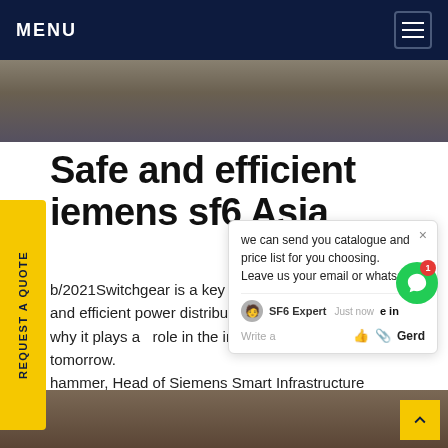MENU
[Figure (photo): Top photo strip showing equipment/cables in a dark setting]
Safe and efficient siemens sf6 Asia
b/2021Switchgear is a key component enabling reliable and efficient power distribution infrastructures. That is why it plays a major role in the infrastructure of today and tomorrow. — Gerd hammer, Head of Siemens Smart Infrastructure .Get price
[Figure (screenshot): Chat popup with message: we can send you catalogue and price list for you choosing. Leave us your email or whatsapp. SF6 Expert, Just now. Write a message. Gerd]
[Figure (photo): Bottom photo showing room interior with orange fabric and furniture]